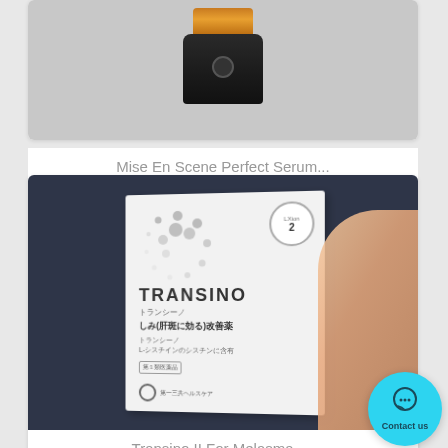[Figure (photo): Partial product card showing a serum bottle cap (gold and black) against grey background]
Mise En Scene Perfect Serum...
$15.00
[Figure (photo): Photo of Transino II product box (white box with TRANSINO branding and Japanese text) held by a hand against a dark background]
Transino II For Melasma ,...
Contact us